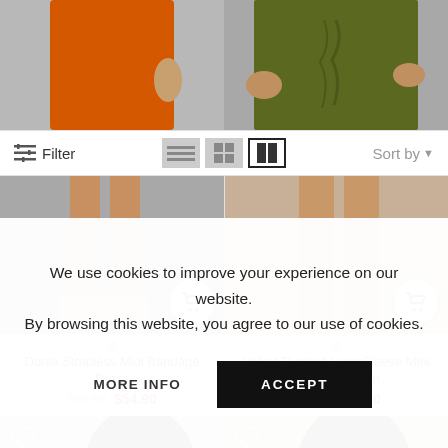[Figure (photo): Top portion of orange bandage dress model (cropped at waist/hips) on gray background]
[Figure (photo): Top portion of olive green velvet ruched mini dress model (cropped at hips/hands) on gray background]
Filter
[Figure (screenshot): View toggle buttons: list, grid-small, grid-2col (active)]
Sort by
[Figure (photo): Lower portion of orange dress model showing legs and strappy heels with cart button overlay]
[Figure (photo): Lower portion of olive green dress model showing legs with cart button overlay]
S
Donia Strapless Midi Bandage Dress
$59.90 $54.90
S
Velvet Ruched Long Sleeve Mini Dress In Green
$64.90 $58.90
[Figure (photo): Model with dark hair, head/shoulders cropped, with heart icon, left product]
[Figure (photo): Model with dark hair and makeup, head/shoulders cropped, with heart icon, right product]
We use cookies to improve your experience on our website. By browsing this website, you agree to our use of cookies.
MORE INFO
ACCEPT